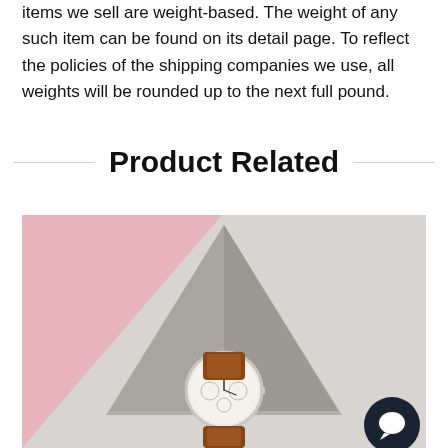items we sell are weight-based. The weight of any such item can be found on its detail page. To reflect the policies of the shipping companies we use, all weights will be rounded up to the next full pound.
Product Related
[Figure (photo): Product photo of a watch with brown leather strap and white chronograph dial, displayed on a concrete triangular pedestal against a pink and light grey background.]